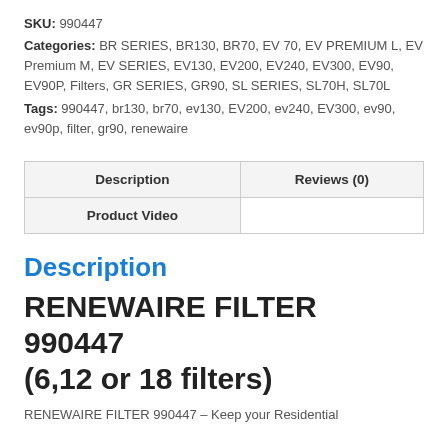SKU: 990447
Categories: BR SERIES, BR130, BR70, EV 70, EV PREMIUM L, EV Premium M, EV SERIES, EV130, EV200, EV240, EV300, EV90, EV90P, Filters, GR SERIES, GR90, SL SERIES, SL70H, SL70L
Tags: 990447, br130, br70, ev130, EV200, ev240, EV300, ev90, ev90p, filter, gr90, renewaire
| Description | Reviews (0) |
| --- | --- |
| Product Video |  |
Description
RENEWAIRE FILTER 990447 (6,12 or 18 filters)
RENEWAIRE FILTER 990447 – Keep your Residential